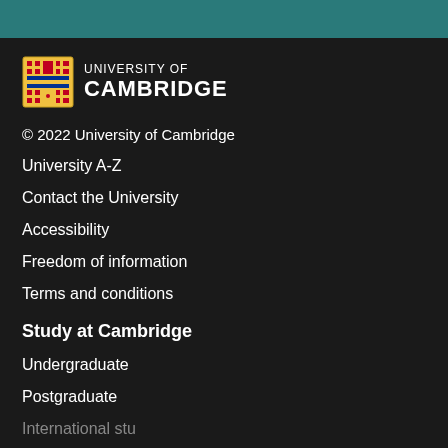[Figure (logo): University of Cambridge shield logo with text UNIVERSITY OF CAMBRIDGE in white]
© 2022 University of Cambridge
University A-Z
Contact the University
Accessibility
Freedom of information
Terms and conditions
Study at Cambridge
Undergraduate
Postgraduate
International students